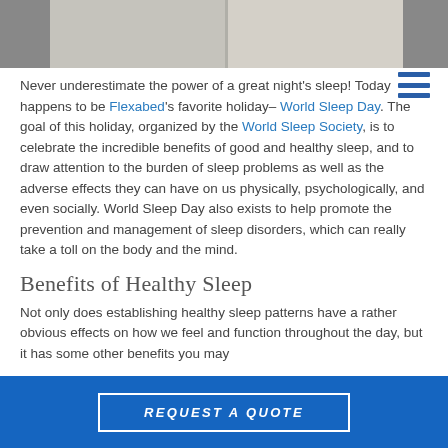[Figure (photo): Photo strip at top showing a person on a bed/mattress, split into two panels]
Never underestimate the power of a great night's sleep! Today happens to be Flexabed's favorite holiday– World Sleep Day. The goal of this holiday, organized by the World Sleep Society, is to celebrate the incredible benefits of good and healthy sleep, and to draw attention to the burden of sleep problems as well as the adverse effects they can have on us physically, psychologically, and even socially. World Sleep Day also exists to help promote the prevention and management of sleep disorders, which can really take a toll on the body and the mind.
Benefits of Healthy Sleep
Not only does establishing healthy sleep patterns have a rather obvious effects on how we feel and function throughout the day, but it has some other benefits you may...
REQUEST A QUOTE